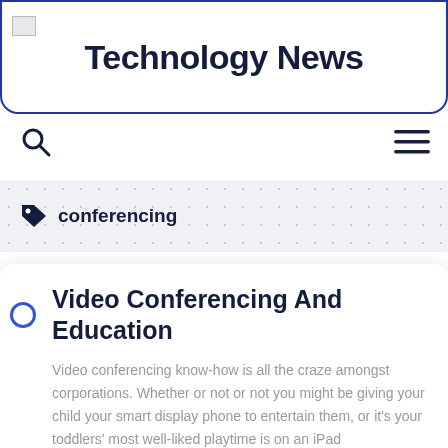Technology News
conferencing
Video Conferencing And Education
Video conferencing know-how is all the craze amongst corporations. Whether or not or not you might be giving your child your smart display phone to entertain them, or it's your toddlers' most well-liked playtime is on an iPad